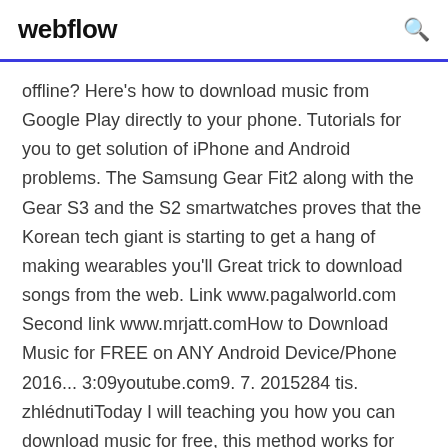webflow
offline? Here's how to download music from Google Play directly to your phone. Tutorials for you to get solution of iPhone and Android problems. The Samsung Gear Fit2 along with the Gear S3 and the S2 smartwatches proves that the Korean tech giant is starting to get a hang of making wearables you'll Great trick to download songs from the web. Link www.pagalworld.com Second link www.mrjatt.comHow to Download Music for FREE on ANY Android Device/Phone 2016... 3:09youtube.com9. 7. 2015284 tis. zhlédnutiToday I will teaching you how you can download music for free, this method works for every single version of Android, from Jellybean